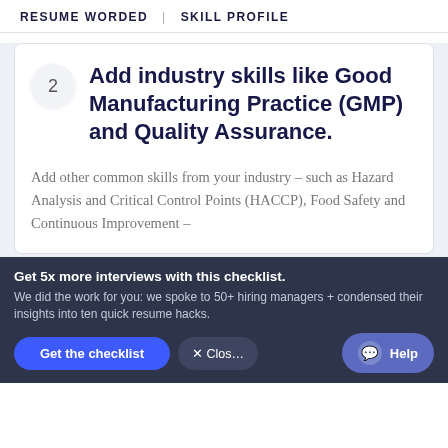RESUME WORDED | SKILL PROFILE
Add industry skills like Good Manufacturing Practice (GMP) and Quality Assurance.
Add other common skills from your industry – such as Hazard Analysis and Critical Control Points (HACCP), Food Safety and Continuous Improvement –
Get 5x more interviews with this checklist.
We did the work for you: we spoke to 50+ hiring managers + condensed their insights into ten quick resume hacks.